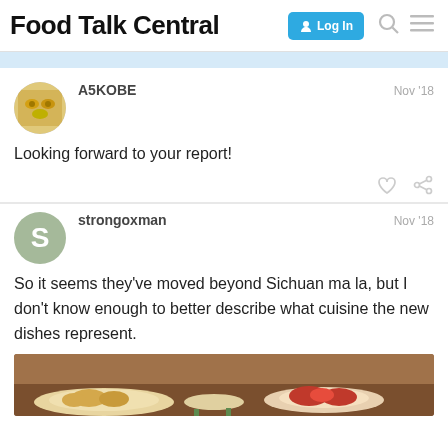Food Talk Central  Log In
A5KOBE  Nov '18
Looking forward to your report!
strongoxman  Nov '18
So it seems they've moved beyond Sichuan ma la, but I don't know enough to better describe what cuisine the new dishes represent.
[Figure (photo): Photo of food dishes on a table, showing fried/sauced items on a white plate]